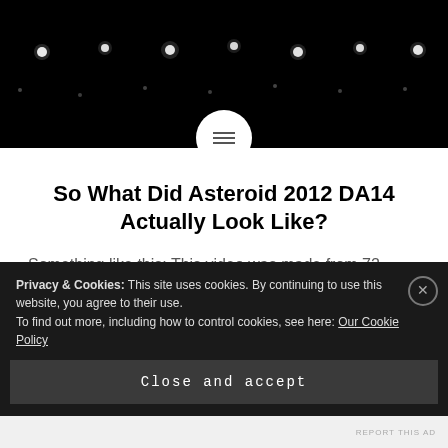[Figure (photo): Dark background with bright star-like dots arranged in a row, resembling a night sky or telescope image of Asteroid 2012 DA14]
So What Did Asteroid 2012 DA14 Actually Look Like?
Something like this: This video was made from 72 radar observations made on the night of Feb. 15/16, 2013, by NASA scientists using the 230-foot (70-meter) Deep Space Network antenna at Goldstone, CA. The target object, a ~40-
Privacy & Cookies: This site uses cookies. By continuing to use this website, you agree to their use.
To find out more, including how to control cookies, see here: Our Cookie Policy
Close and accept
REPORT THIS AD